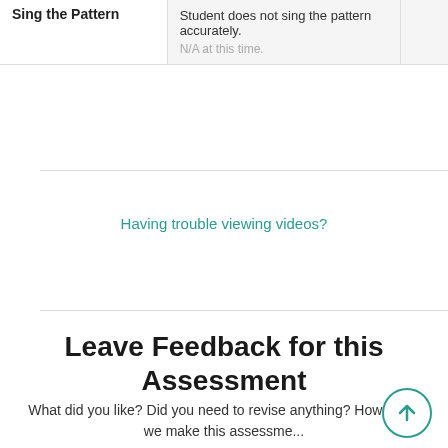| Skill | Description |  |
| --- | --- | --- |
| Sing the Pattern | Student does not sing the pattern accurately.
N/A at this time. |  |
Having trouble viewing videos?
Leave Feedback for this Assessment
What did you like? Did you need to revise anything? How could we make this assessme...